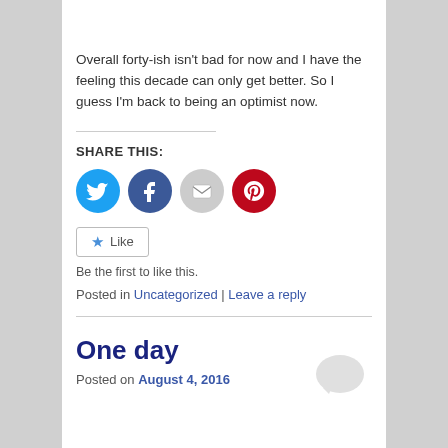Overall forty-ish isn't bad for now and I have the feeling this decade can only get better. So I guess I'm back to being an optimist now.
SHARE THIS:
[Figure (infographic): Row of four social share icon buttons: Twitter (blue circle with bird icon), Facebook (dark blue circle with f icon), Email (grey circle with envelope icon), Pinterest (red circle with P icon)]
Like
Be the first to like this.
Posted in Uncategorized | Leave a reply
One day
Posted on August 4, 2016